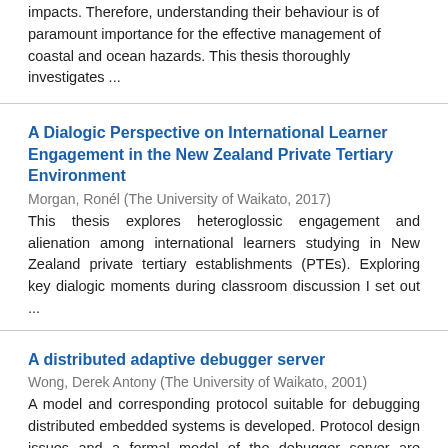impacts. Therefore, understanding their behaviour is of paramount importance for the effective management of coastal and ocean hazards. This thesis thoroughly investigates ...
A Dialogic Perspective on International Learner Engagement in the New Zealand Private Tertiary Environment
Morgan, Ronél (The University of Waikato, 2017)
This thesis explores heteroglossic engagement and alienation among international learners studying in New Zealand private tertiary establishments (PTEs). Exploring key dialogic moments during classroom discussion I set out ...
A distributed adaptive debugger server
Wong, Derek Antony (The University of Waikato, 2001)
A model and corresponding protocol suitable for debugging distributed embedded systems is developed. Protocol design issues and a formal model of the debugger server are defined with the intent of developing ...